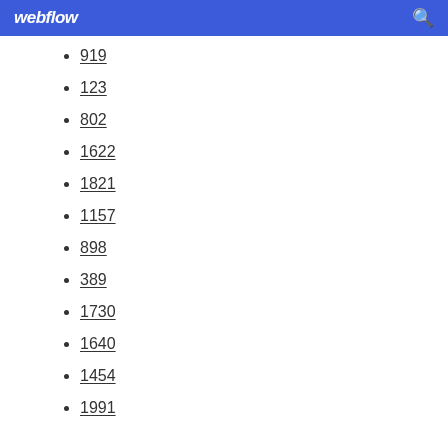webflow
919
123
802
1622
1821
1157
898
389
1730
1640
1454
1991